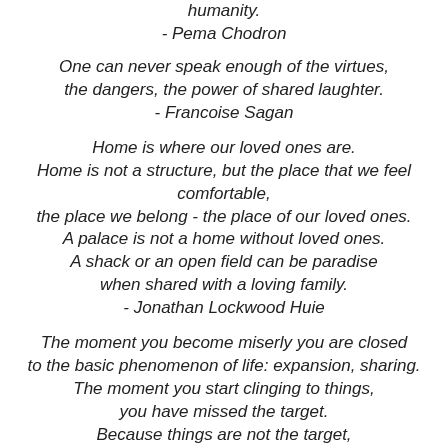humanity.
- Pema Chodron
One can never speak enough of the virtues, the dangers, the power of shared laughter.
- Francoise Sagan
Home is where our loved ones are.
Home is not a structure, but the place that we feel comfortable,
the place we belong - the place of our loved ones.
A palace is not a home without loved ones.
A shack or an open field can be paradise when shared with a loving family.
- Jonathan Lockwood Huie
The moment you become miserly you are closed to the basic phenomenon of life: expansion, sharing.
The moment you start clinging to things, you have missed the target.
Because things are not the target,
you, your innermost being, is the target -
not a beautiful house, but a beautiful you;
not much money, but a rich you;